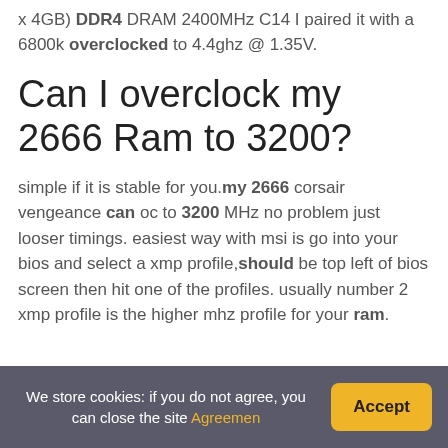x 4GB) DDR4 DRAM 2400MHz C14 I paired it with a 6800k overclocked to 4.4ghz @ 1.35V.
Can I overclock my 2666 Ram to 3200?
simple if it is stable for you.my 2666 corsair vengeance can oc to 3200 MHz no problem just looser timings. easiest way with msi is go into your bios and select a xmp profile,should be top left of bios screen then hit one of the profiles. usually number 2 xmp profile is the higher mhz profile for your ram.
You might be interested:  Quick Answer: How can arby's sell venison?
We store cookies: if you do not agree, you can close the site Agreemen